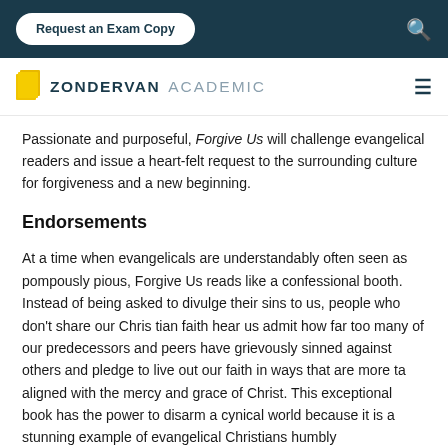Request an Exam Copy
[Figure (logo): Zondervan Academic logo with yellow book icon and dark teal text]
Passionate and purposeful, Forgive Us will challenge evangelical readers and issue a heart-felt request to the surrounding culture for forgiveness and a new beginning.
Endorsements
At a time when evangelicals are understandably often seen as pompously pious, Forgive Us reads like a confessional booth. Instead of being asked to divulge their sins to us, people who don't share our Chris tian faith hear us admit how far too many of our predecessors and peers have grievously sinned against others and pledge to live out our faith in ways that are more ta... aligned with the mercy and grace of Christ. This exceptional book has the power to disarm a cynical world because it is a stunning example of evangelical Christians humbly